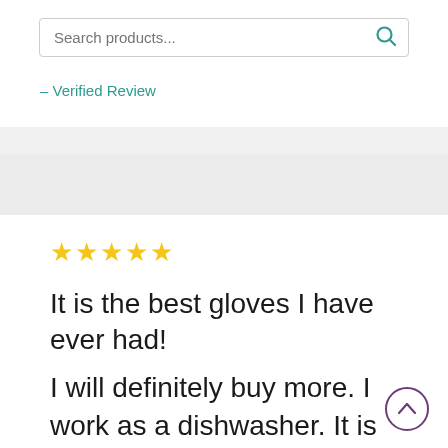[Figure (screenshot): Search bar input with placeholder text 'Search products...' and a teal search icon on the right]
– Verified Review
★★★★★

It is the best gloves I have ever had!

I will definitely buy more. I work as a dishwasher. It is the most